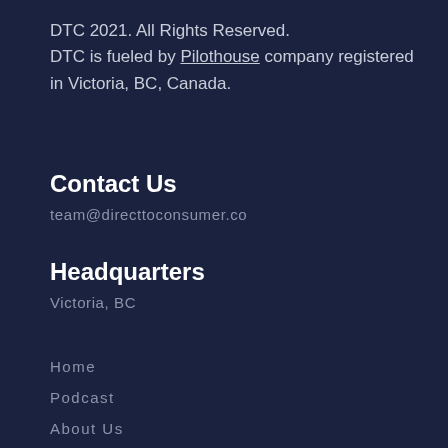DTC 2021. All Rights Reserved.
DTC is fueled by Pilothouse company registered in Victoria, BC, Canada.
Contact Us
team@directtoconsumer.co
Headquarters
Victoria, BC
Home
Podcast
About Us